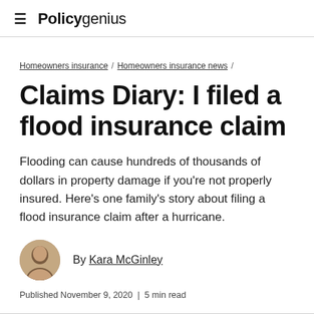≡ Policygenius
Homeowners insurance / Homeowners insurance news /
Claims Diary: I filed a flood insurance claim
Flooding can cause hundreds of thousands of dollars in property damage if you're not properly insured. Here's one family's story about filing a flood insurance claim after a hurricane.
By Kara McGinley
Published November 9, 2020 | 5 min read